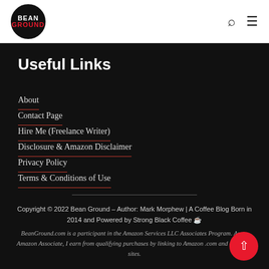Bean Ground
Useful Links
About
Contact Page
Hire Me (Freelance Writer)
Disclosure & Amazon Disclaimer
Privacy Policy
Terms & Conditions of Use
Copyright © 2022 Bean Ground – Author: Mark Morphew | A Coffee Blog Born in 2014 and Powered by Strong Black Coffee ☕ BeanGround.com is a participant in the Amazon Services LLC Associates Program. As an Amazon Associate, I earn from qualifying purchases by linking to Amazon .com and affiliated sites.